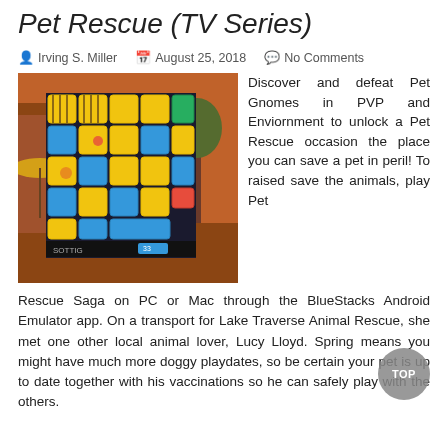Pet Rescue (TV Series)
Irving S. Miller   August 25, 2018   No Comments
[Figure (screenshot): Screenshot of Pet Rescue Saga game showing colorful caged animals on a puzzle board with blue, yellow, and other colored blocks against an orange/brown background.]
Discover and defeat Pet Gnomes in PVP and Enviornment to unlock a Pet Rescue occasion the place you can save a pet in peril! To raised save the animals, play Pet Rescue Saga on PC or Mac through the BlueStacks Android Emulator app. On a transport for Lake Traverse Animal Rescue, she met one other local animal lover, Lucy Lloyd. Spring means you might have much more doggy playdates, so be certain your pet is up to date together with his vaccinations so he can safely play with the others.